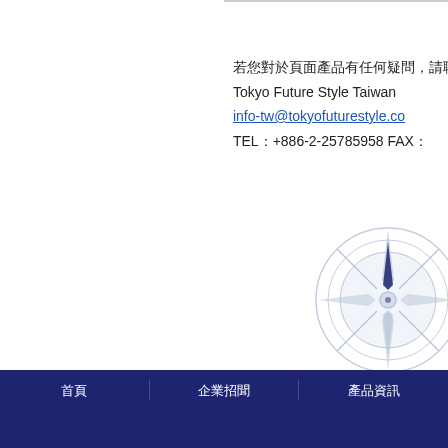若您對於頁面產品有任何疑問，請聯繫
Tokyo Future Style Taiwan
info-tw@tokyofuturestyle.co
TEL：+886-2-25785958 FAX：
[Figure (illustration): Compass rose illustration in light blue/grey colors]
首頁　　　企業招聞　　　產品資訊